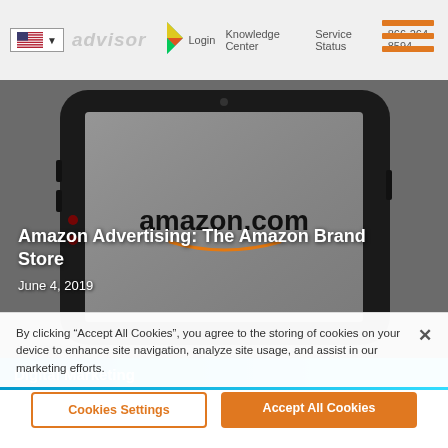advisor | Knowledge Center  Service Status  866-264-8594
[Figure (screenshot): Hero image showing a smartphone screen displaying the amazon.com logo on a dark background]
Amazon Advertising: The Amazon Brand Store
June 4, 2019
Digital Marketing
By clicking “Accept All Cookies”, you agree to the storing of cookies on your device to enhance site navigation, analyze site usage, and assist in our marketing efforts.
Cookies Settings   Accept All Cookies